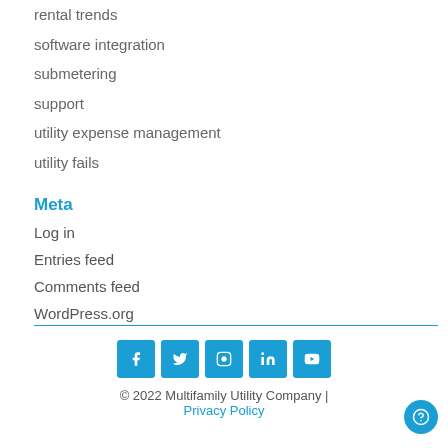rental trends
software integration
submetering
support
utility expense management
utility fails
Meta
Log in
Entries feed
Comments feed
WordPress.org
© 2022 Multifamily Utility Company | Privacy Policy